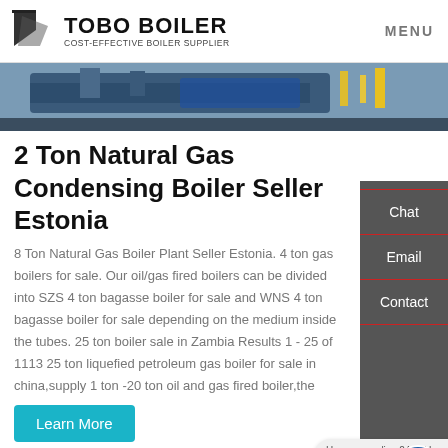TOBO BOILER — COST-EFFECTIVE BOILER SUPPLIER | MENU
[Figure (photo): Aerial/industrial photo of boiler equipment at a plant site, showing blue and yellow machinery]
2 Ton Natural Gas Condensing Boiler Seller Estonia
8 Ton Natural Gas Boiler Plant Seller Estonia. 4 ton gas boilers for sale. Our oil/gas fired boilers can be divided into SZS 4 ton bagasse boiler for sale and WNS 4 ton bagasse boiler for sale depending on the medium inside the tubes. 25 ton boiler sale in Zambia Results 1 - 25 of 1113 25 ton liquefied petroleum gas boiler for sale in china,supply 1 ton -20 ton oil and gas fired boiler,the
Learn More
Hey, we are live 24/7. How may I help you?
HOT NEWS